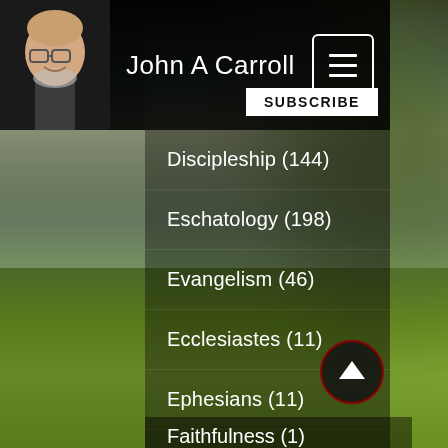[Figure (photo): Screenshot of a YouTube channel page for John A Carroll showing a navigation menu sidebar with category links overlaid on a background image of a tree-lined field with dramatic sky. Header shows profile photo of a bald man with glasses and the channel name John A Carroll with a hamburger menu icon and SUBSCRIBE button.]
John A Carroll
Discipleship (144)
Eschatology (198)
Evangelism (46)
Ecclesiastes (11)
Ephesians (11)
Fellowship (30)
Ezekiel (46)
Faithfulness (1)